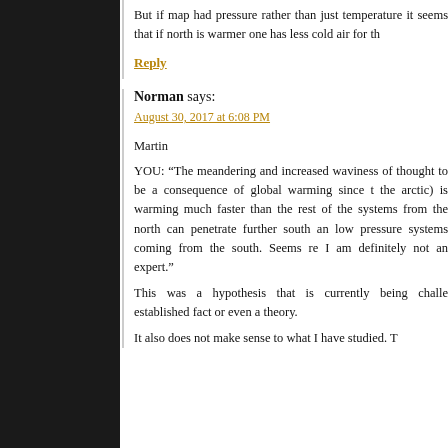But if map had pressure rather than just temperature it seems that if north is warmer one has less cold air for th
Reply
Norman says:
August 30, 2017 at 6:08 PM
Martin
YOU: “The meandering and increased waviness of thought to be a consequence of global warming since t the arctic) is warming much faster than the rest of the systems from the north can penetrate further south an low pressure systems coming from the south. Seems re I am definitely not an expert.”
This was a hypothesis that is currently being challe established fact or even a theory.
It also does not make sense to what I have studied. T